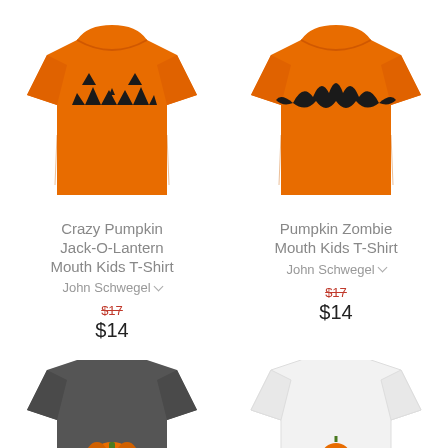[Figure (photo): Orange kids t-shirt with black jack-o-lantern jagged mouth graphic]
[Figure (photo): Orange kids t-shirt with black zombie/bat mouth graphic]
Crazy Pumpkin Jack-O-Lantern Mouth Kids T-Shirt
John Schwegel
$17 (strikethrough) $14
Pumpkin Zombie Mouth Kids T-Shirt
John Schwegel
$17 (strikethrough) $14
[Figure (photo): Dark gray kids t-shirt with pumpkin graphic, partially visible at bottom]
[Figure (photo): White kids t-shirt with small graphic, partially visible at bottom]